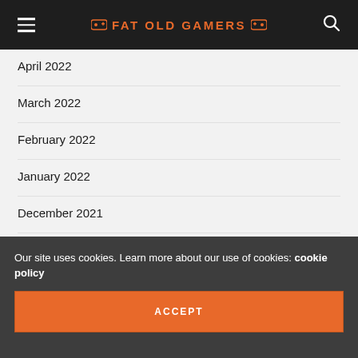FAT OLD GAMERS
April 2022
March 2022
February 2022
January 2022
December 2021
November 2021
October 2021
September 2021
Our site uses cookies. Learn more about our use of cookies: cookie policy
ACCEPT